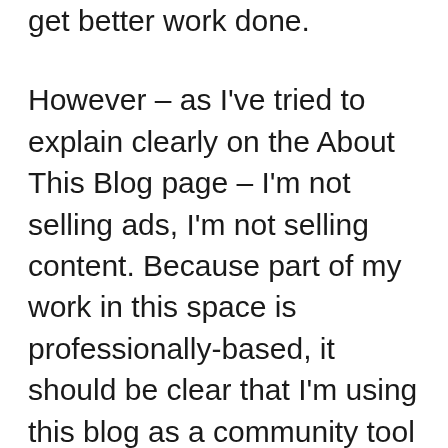get better work done.
However – as I've tried to explain clearly on the About This Blog page – I'm not selling ads, I'm not selling content. Because part of my work in this space is professionally-based, it should be clear that I'm using this blog as a community tool more than anything else. Of course I want to leave myself open to making money – who wouldn't? – and for that reason, I've very selectively chosen some passive programs I can expend an incredibly low amount of energy on,